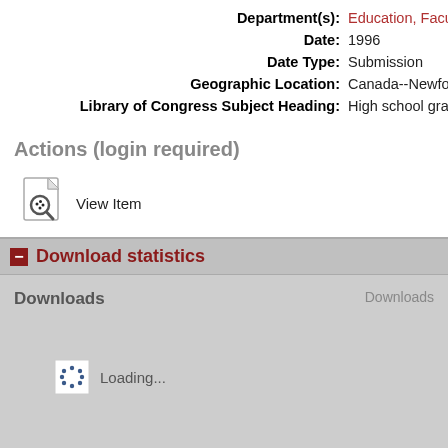Department(s): Education, Faculty of
Date: 1996
Date Type: Submission
Geographic Location: Canada--Newfoundla
Library of Congress Subject Heading: High school graduate
Actions (login required)
View Item
Download statistics
Downloads
Downloads
Loading...